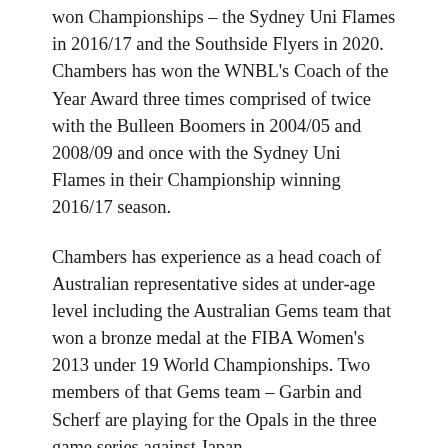won Championships – the Sydney Uni Flames in 2016/17 and the Southside Flyers in 2020. Chambers has won the WNBL's Coach of the Year Award three times comprised of twice with the Bulleen Boomers in 2004/05 and 2008/09 and once with the Sydney Uni Flames in their Championship winning 2016/17 season.
Chambers has experience as a head coach of Australian representative sides at under-age level including the Australian Gems team that won a bronze medal at the FIBA Women's 2013 under 19 World Championships. Two members of that Gems team – Garbin and Scherf are playing for the Opals in the three game series against Japan.
Between 2005 and 2007 Chambers was an Assistant Coach of the Opals and commenced a second stint in this role in May 2017 with Sandy Brondello as the Opals Head Coach. In the past five years with